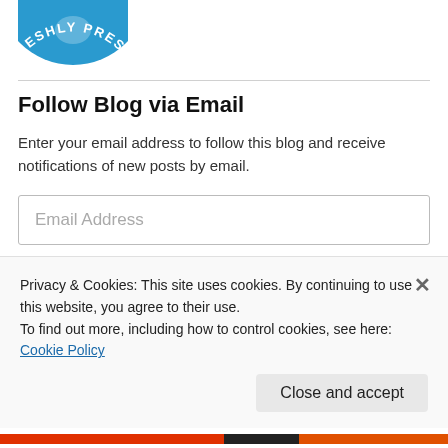[Figure (logo): Partial circular logo with text 'ESHLY PRESS' visible on blue circle, cropped at top]
Follow Blog via Email
Enter your email address to follow this blog and receive notifications of new posts by email.
Email Address (input field placeholder)
Follow (button)
Join 520 other followers
Privacy & Cookies: This site uses cookies. By continuing to use this website, you agree to their use.
To find out more, including how to control cookies, see here: Cookie Policy
Close and accept